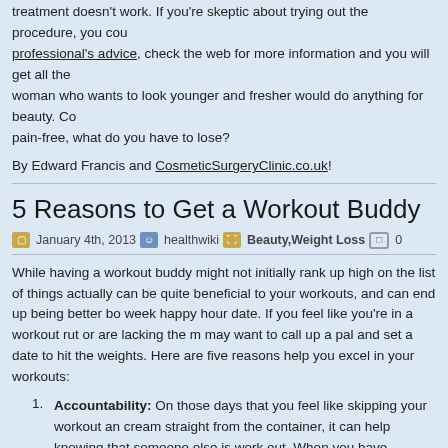treatment doesn't work. If you're skeptic about trying out the procedure, you could seek professional's advice, check the web for more information and you will get all the answers. A woman who wants to look younger and fresher would do anything for beauty. Considering it is pain-free, what do you have to lose?
By Edward Francis and CosmeticSurgeryClinic.co.uk!
5 Reasons to Get a Workout Buddy
January 4th, 2013  healthwiki  Beauty,Weight Loss  0
While having a workout buddy might not initially rank up high on the list of things actually can be quite beneficial to your workouts, and can end up being better bo week happy hour date. If you feel like you're in a workout rut or are lacking the m may want to call up a pal and set a date to hit the weights. Here are five reasons help you excel in your workouts:
Accountability: On those days that you feel like skipping your workout and eating ice cream straight from the container, it can help knowing that someone else is counting on you to work out. When you have someone meeting you for a workout you're much less likely to blow it off because you don't want to let that person down.
Motivation: Having someone there that's pushing through a workout right beside you is the motivation you need to power through the last mile of a tough run or finally hit a new PR. People typically tend to sell themselves short when it comes to how much they can handle when they're by themselves, and are much more likely to push a little harder when someone else is pushing a little harder too.